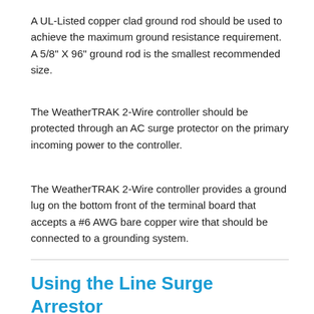A UL-Listed copper clad ground rod should be used to achieve the maximum ground resistance requirement. A 5/8" X 96" ground rod is the smallest recommended size.
The WeatherTRAK 2-Wire controller should be protected through an AC surge protector on the primary incoming power to the controller.
The WeatherTRAK 2-Wire controller provides a ground lug on the bottom front of the terminal board that accepts a #6 AWG bare copper wire that should be connected to a grounding system.
Using the Line Surge Arrestor